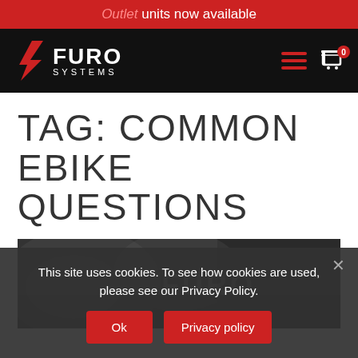Outlet units now available
[Figure (logo): Furo Systems logo with red chevron/lightning icon and white text reading FURO SYSTEMS on black navigation bar with hamburger menu and cart icon]
TAG: COMMON EBIKE QUESTIONS
[Figure (photo): Dark photo showing a cycling/ebike component with FURO branding visible]
This site uses cookies. To see how cookies are used, please see our Privacy Policy.
Ok  Privacy policy